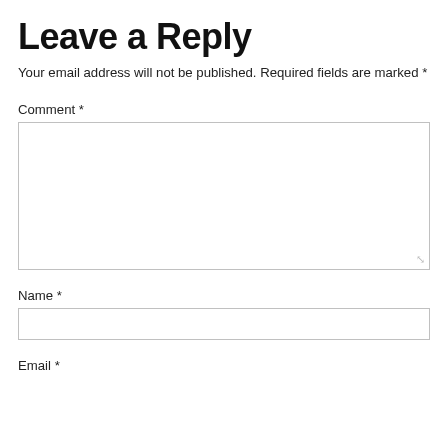Leave a Reply
Your email address will not be published. Required fields are marked *
Comment *
[Figure (other): Large empty comment textarea input box]
Name *
[Figure (other): Single-line name input text box]
Email *